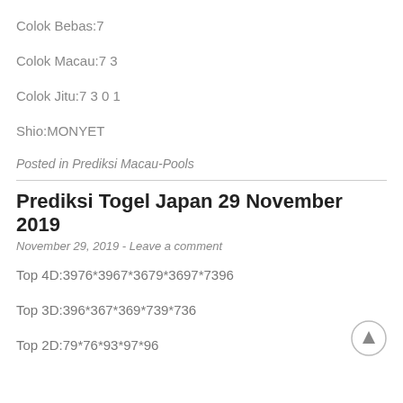Colok Bebas:7
Colok Macau:7 3
Colok Jitu:7 3 0 1
Shio:MONYET
Posted in Prediksi Macau-Pools
Prediksi Togel Japan 29 November 2019
November 29, 2019 - Leave a comment
Top 4D:3976*3967*3679*3697*7396
Top 3D:396*367*369*739*736
Top 2D:79*76*93*97*96